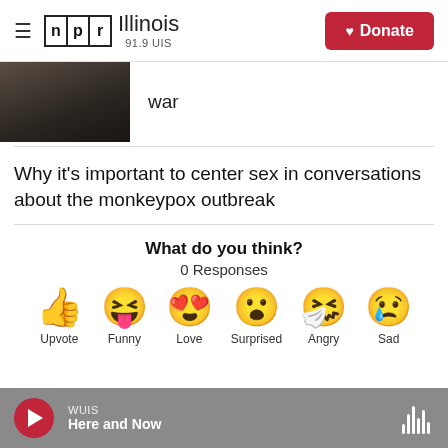NPR Illinois 91.9 UIS | Donate
[Figure (photo): Dark photo of a military or war scene]
war
Why it's important to center sex in conversations about the monkeypox outbreak
What do you think?
0 Responses
[Figure (infographic): Six emoji reaction buttons: Upvote (thumbs up), Funny (laughing face), Love (heart eyes), Surprised (surprised face), Angry (crying/angry face), Sad (sad face with tear)]
WUIS Here and Now